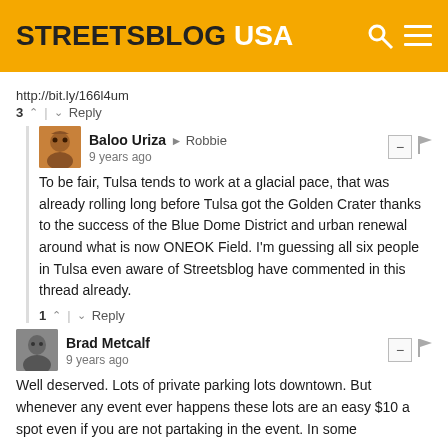STREETSBLOG USA
http://bit.ly/166l4um
3  |  Reply
Baloo Uriza → Robbie
9 years ago
To be fair, Tulsa tends to work at a glacial pace, that was already rolling long before Tulsa got the Golden Crater thanks to the success of the Blue Dome District and urban renewal around what is now ONEOK Field. I'm guessing all six people in Tulsa even aware of Streetsblog have commented in this thread already.
1  |  Reply
Brad Metcalf
9 years ago
Well deserved. Lots of private parking lots downtown. But whenever any event ever happens these lots are an easy $10 a spot even if you are not partaking in the event. In some